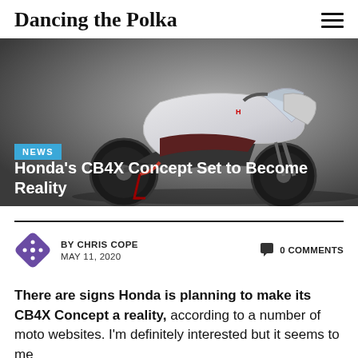Dancing the Polka
[Figure (photo): Honda CB4X Concept motorcycle in white/silver on a grey studio background]
NEWS
Honda's CB4X Concept Set to Become Reality
BY CHRIS COPE
MAY 11, 2020
0 COMMENTS
There are signs Honda is planning to make its CB4X Concept a reality, according to a number of moto websites. I'm definitely interested but it seems to me…